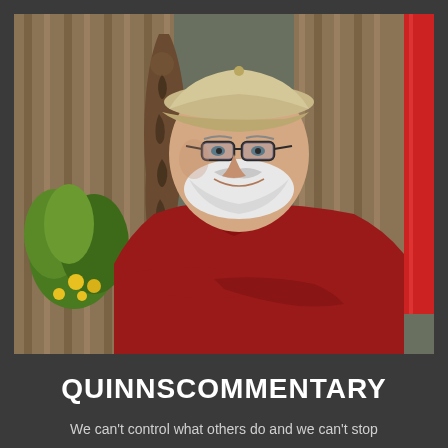[Figure (photo): Outdoor photo of an elderly man with white beard, wearing a beige baseball cap, dark-rimmed glasses, and a dark red/maroon polo shirt with arms crossed. He is smiling and leaning against a wooden fence or wall. In the background there is a carved wooden figure/statue with tattoo-like patterns, green plants with yellow flowers, and a bright red vertical element (post or pillar) on the right side.]
QUINNSCOMMENTARY
We can't control what others do and we can't stop